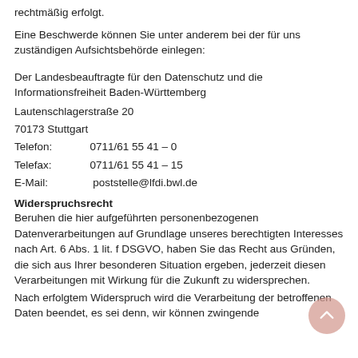rechtmäßig erfolgt.
Eine Beschwerde können Sie unter anderem bei der für uns zuständigen Aufsichtsbehörde einlegen:
Der Landesbeauftragte für den Datenschutz und die Informationsfreiheit Baden-Württemberg
Lautenschlagerstraße 20
70173 Stuttgart
Telefon:        0711/61 55 41 – 0
Telefax:        0711/61 55 41 – 15
E-Mail:         poststelle@lfdi.bwl.de
Widerspruchsrecht
Beruhen die hier aufgeführten personenbezogenen Datenverarbeitungen auf Grundlage unseres berechtigten Interesses nach Art. 6 Abs. 1 lit. f DSGVO, haben Sie das Recht aus Gründen, die sich aus Ihrer besonderen Situation ergeben, jederzeit diesen Verarbeitungen mit Wirkung für die Zukunft zu widersprechen.
Nach erfolgtem Widerspruch wird die Verarbeitung der betroffenen Daten beendet, es sei denn, wir können zwingende